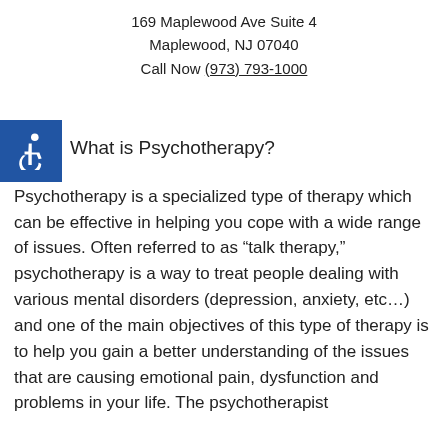169 Maplewood Ave Suite 4
Maplewood, NJ 07040
Call Now (973) 793-1000
[Figure (other): Blue accessibility wheelchair icon badge]
What is Psychotherapy?
Psychotherapy is a specialized type of therapy which can be effective in helping you cope with a wide range of issues. Often referred to as “talk therapy,” psychotherapy is a way to treat people dealing with various mental disorders (depression, anxiety, etc…) and one of the main objectives of this type of therapy is to help you gain a better understanding of the issues that are causing emotional pain, dysfunction and problems in your life. The psychotherapist